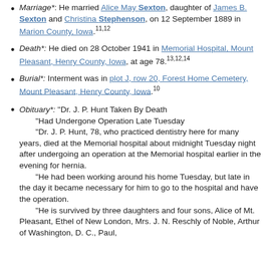Marriage*: He married Alice May Sexton, daughter of James B. Sexton and Christina Stephenson, on 12 September 1889 in Marion County, Iowa.[11][12]
Death*: He died on 28 October 1941 in Memorial Hospital, Mount Pleasant, Henry County, Iowa, at age 78.[13][12][14]
Burial*: Interment was in plot J, row 20, Forest Home Cemetery, Mount Pleasant, Henry County, Iowa.[10]
Obituary*: "Dr. J. P. Hunt Taken By Death "Had Undergone Operation Late Tuesday "Dr. J. P. Hunt, 78, who practiced dentistry here for many years, died at the Memorial hospital about midnight Tuesday night after undergoing an operation at the Memorial hospital earlier in the evening for hernia. "He had been working around his home Tuesday, but late in the day it became necessary for him to go to the hospital and have the operation. "He is survived by three daughters and four sons, Alice of Mt. Pleasant, Ethel of New London, Mrs. J. N. Reschly of Noble, Arthur of Washington, D. C., Paul,